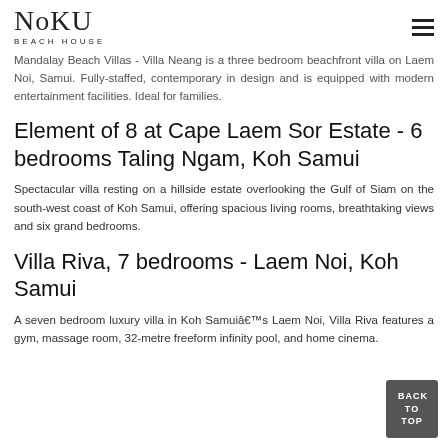NOKU BEACH HOUSE
Mandalay Beach Villas - Villa Neang is a three bedroom beachfront villa on Laem Noi, Samui. Fully-staffed, contemporary in design and is equipped with modern entertainment facilities. Ideal for families.
Element of 8 at Cape Laem Sor Estate - 6 bedrooms Taling Ngam, Koh Samui
Spectacular villa resting on a hillside estate overlooking the Gulf of Siam on the south-west coast of Koh Samui, offering spacious living rooms, breathtaking views and six grand bedrooms.
Villa Riva, 7 bedrooms - Laem Noi, Koh Samui
A seven bedroom luxury villa in Koh Samuiâ€™s Laem Noi, Villa Riva features a gym, massage room, 32-metre freeform infinity pool, and home cinema.